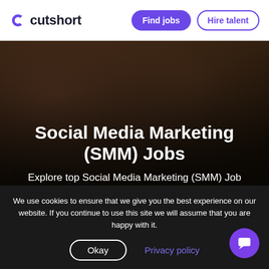cutshort | Find jobs | Hire talent
Social Media Marketing (SMM) Jobs
Explore top Social Media Marketing (SMM) Job opportunities from Top Companies & Startups. All jobs are
We use cookies to ensure that we give you the best experience on our website. If you continue to use this site we will assume that you are happy with it.
Okay | Privacy policy